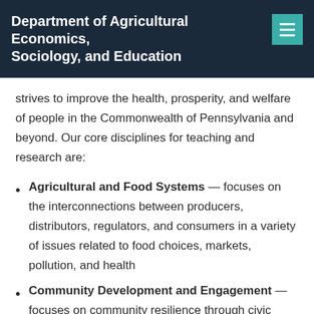Department of Agricultural Economics, Sociology, and Education
strives to improve the health, prosperity, and welfare of people in the Commonwealth of Pennsylvania and beyond. Our core disciplines for teaching and research are:
Agricultural and Food Systems — focuses on the interconnections between producers, distributors, regulators, and consumers in a variety of issues related to food choices, markets, pollution, and health
Community Development and Engagement — focuses on community resilience through civic engagement, leadership, and entrepreneurship to support sustainable communities and regional economies